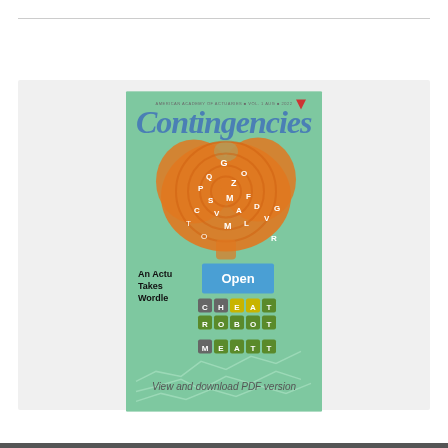[Figure (illustration): Cover of Contingencies magazine showing a brain made of letter mazes in orange/red tones on a green background, with Wordle-style letter blocks at the bottom. An 'Open' button overlay is visible in the center.]
View and download PDF version